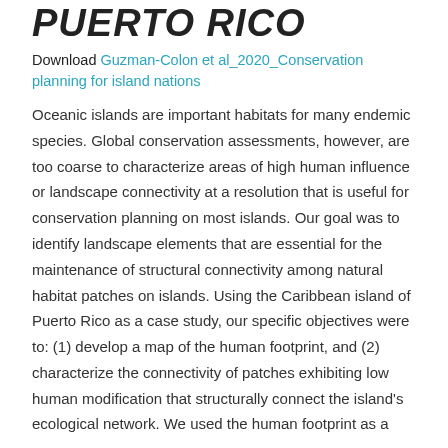PUERTO RICO
Download Guzman-Colon et al_2020_Conservation planning for island nations
Oceanic islands are important habitats for many endemic species. Global conservation assessments, however, are too coarse to characterize areas of high human influence or landscape connectivity at a resolution that is useful for conservation planning on most islands. Our goal was to identify landscape elements that are essential for the maintenance of structural connectivity among natural habitat patches on islands. Using the Caribbean island of Puerto Rico as a case study, our specific objectives were to: (1) develop a map of the human footprint, and (2) characterize the connectivity of patches exhibiting low human modification that structurally connect the island's ecological network. We used the human footprint as a